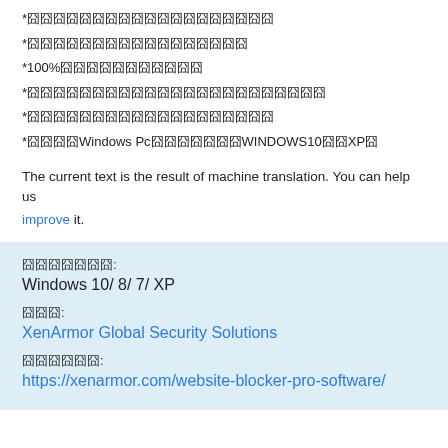*囧囧囧囧囧囧囧囧囧囧囧囧囧囧囧囧囧囧囧
*囧囧囧囧囧囧囧囧囧囧囧囧囧囧囧囧囧
*100%囧囧囧囧囧囧囧囧囧囧囧
*囧囧囧囧囧囧囧囧囧囧囧囧囧囧囧囧囧囧囧囧囧囧囧
*囧囧囧囧囧囧囧囧囧囧囧囧囧囧囧囧囧囧囧
*囧囧囧囧Windows Pc囧囧囧囧囧囧囧WINDOWS10囧囧XP囧
The current text is the result of machine translation. You can help us improve it.
囧囧囧囧囧囧囧:
Windows 10/ 8/ 7/ XP
囧囧囧:
XenArmor Global Security Solutions
囧囧囧囧囧囧:
https://xenarmor.com/website-blocker-pro-software/